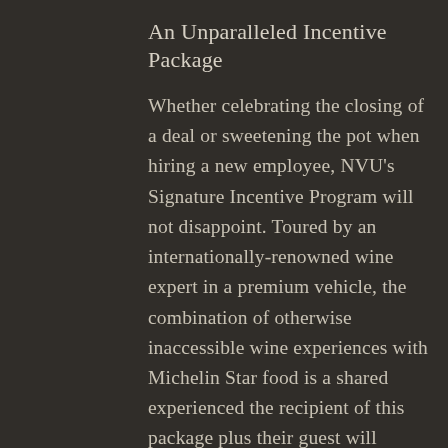An Unparalleled Incentive Package
Whether celebrating the closing of a deal or sweetening the pot when hiring a new employee, NVU's Signature Incentive Program will not disappoint. Toured by an internationally-renowned wine expert in a premium vehicle, the combination of otherwise inaccessible wine experiences with Michelin Star food is a shared experienced the recipient of this package plus their guest will remember forever. Only the most exclusive locations are reserved for this package, so guests should